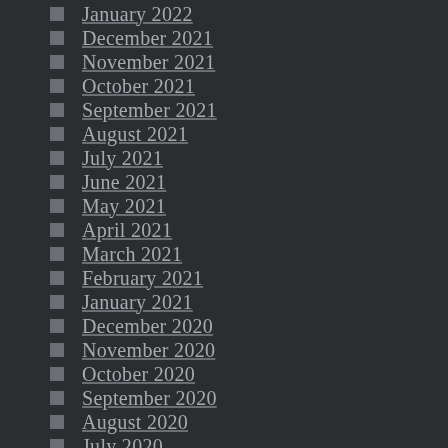January 2022
December 2021
November 2021
October 2021
September 2021
August 2021
July 2021
June 2021
May 2021
April 2021
March 2021
February 2021
January 2021
December 2020
November 2020
October 2020
September 2020
August 2020
July 2020